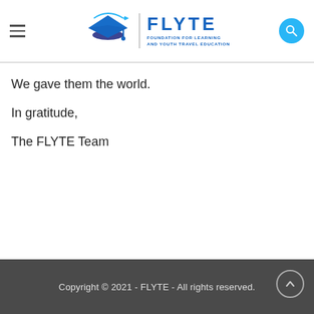FLYTE - Foundation for Learning and Youth Travel Education
We gave them the world.

In gratitude,

The FLYTE Team
Copyright © 2021 - FLYTE - All rights reserved.